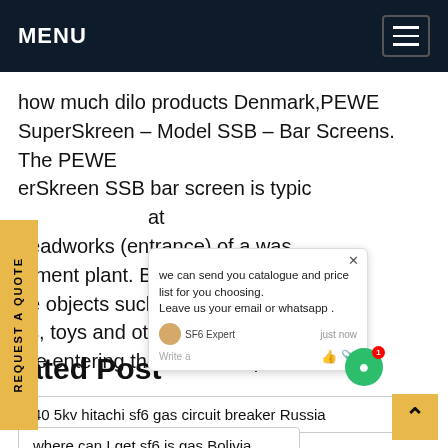MENU
how much dilo products Denmark,PEWE SuperSkreen – Model SSB – Bar Screens. The PEWE SuperSkreen SSB bar screen is typically located at headworks (entrance) of a wastewater treatment plant. Bar screens are used to remove large objects such as rags, plastics bags, ds, toys and other debris from the stream before entering the treatment plant.
[Figure (screenshot): Chat popup overlay showing message: 'we can send you catalogue and price list for you choosing. Leave us your email or whatsapp.' with SF6 Expert avatar and 'just now' timestamp, green chat icon with red badge showing 1.]
Related Post
40 5kv hitachi sf6 gas circuit breaker Russia
where can I get sf6 is gas Bolivia